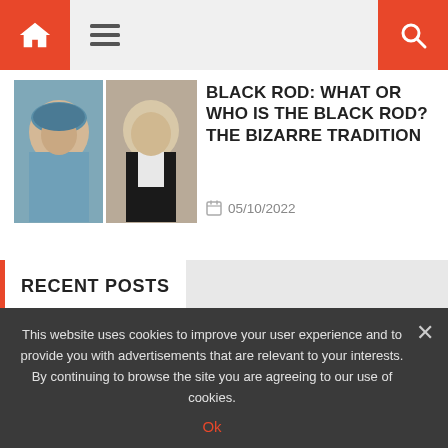Navigation bar with home, menu, and search icons
BLACK ROD: WHAT OR WHO IS THE BLACK ROD? THE BIZARRE TRADITION
05/10/2022
RECENT POSTS
Ice cream man fuming over plastic cow mascot has been banned for being too big
This website uses cookies to improve your user experience and to provide you with advertisements that are relevant to your interests. By continuing to browse the site you are agreeing to our use of cookies. Ok